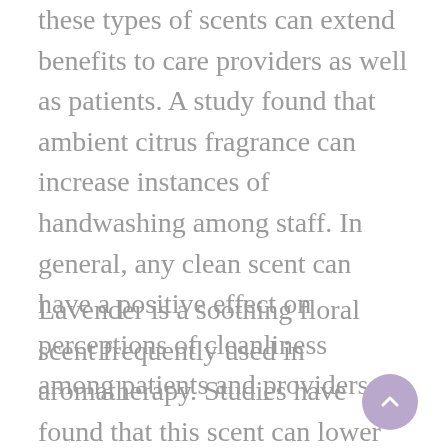these types of scents can extend benefits to care providers as well as patients. A study found that ambient citrus fragrance can increase instances of handwashing among staff. In general, any clean scent can have a positive effect on perceptions of cleanliness among patients and providers.
Lavender is a soothing floral scent frequently used in aromatherapy. Studies have found that this scent can lower stress levels and improve cognitive function. Heliotropin or piperonal is an organic compound with a floral odor similar to th